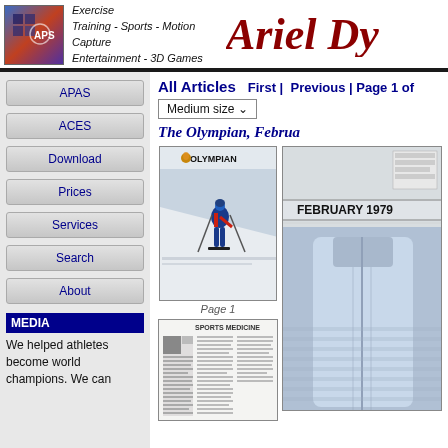Biomechanical Analysis - Exercise Training - Sports - Motion Capture Entertainment - 3D Games Scientific Analysis ... Ariel Dy
APAS
ACES
Download
Prices
Services
Search
About
MEDIA
We helped athletes become world champions. We can
All Articles
First |  Previous | Page 1 of
Medium size ✓
The Olympian, Februa
Page 1
[Figure (photo): The Olympian magazine cover showing a skier in action on a slope, February 1979]
[Figure (photo): Sports Medicine article page thumbnail]
[Figure (photo): Large photo of person wearing blue jacket, close-up partial view showing FEBRUARY 1979 header]